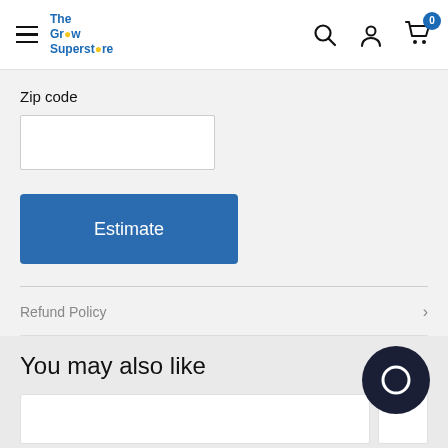The Grow Superstore — navigation header with hamburger menu, logo, search, account, and cart icons
Zip code
[Figure (other): Empty text input field for zip code entry]
Estimate
Refund Policy
You may also like